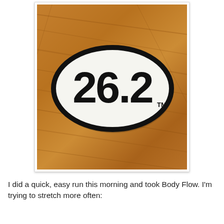[Figure (photo): A white oval sticker with a thick black border placed on a wooden surface. The sticker displays '26.2' in large bold black text with a small 'TM' trademark symbol in the lower right.]
I did a quick, easy run this morning and took Body Flow. I'm trying to stretch more often: